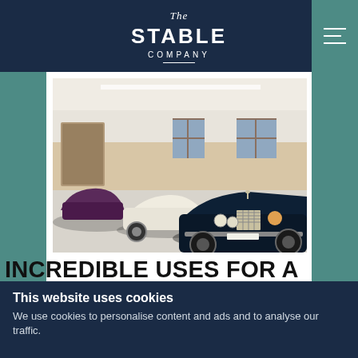The STABLE COMPANY
[Figure (photo): Interior of a garage/stable building showing three classic cars: a dark navy Bentley in the foreground, a cream/white vintage open-top car in the middle, and a dark purple car in the background. The building has wooden panel walls and a white floor.]
INCREDIBLE USES FOR A TIMBER BUILDING – A CLASSIC CAR
This website uses cookies
We use cookies to personalise content and ads and to analyse our traffic.